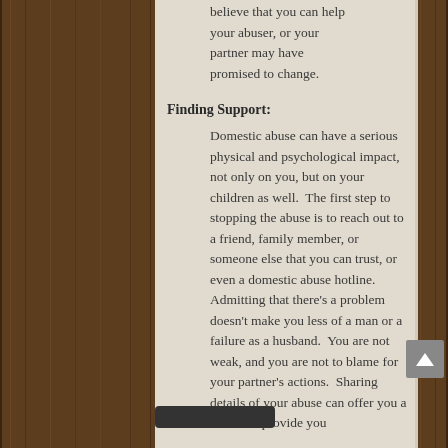there's a problem, you believe that you can help your abuser, or your partner may have promised to change.
Finding Support:
Domestic abuse can have a serious physical and psychological impact, not only on you, but on your children as well.  The first step to stopping the abuse is to reach out to a friend, family member, or someone else that you can trust, or even a domestic abuse hotline. Admitting that there's a problem doesn't make you less of a man or a failure as a husband.  You are not weak, and you are not to blame for your partner's actions.  Sharing details of your abuse can offer you a sense of r[...]provide you